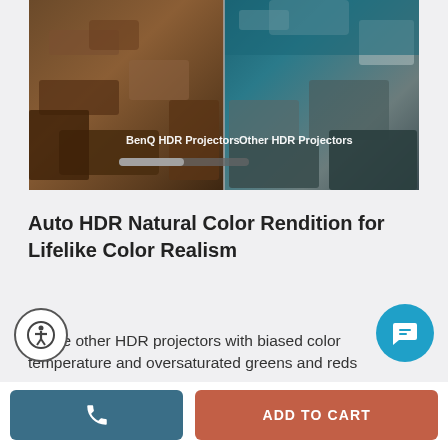[Figure (photo): Split comparison image showing BenQ HDR Projectors on the left side with warm rocky canyon tones and Other HDR Projectors on the right side with cooler teal and grey tones. Text labels overlay each half.]
Auto HDR Natural Color Rendition for Lifelike Color Realism
Unlike other HDR projectors with biased color temperature and oversaturated greens and reds